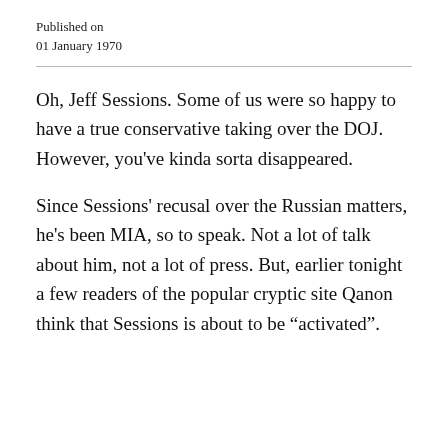Published on
01 January 1970
Oh, Jeff Sessions. Some of us were so happy to have a true conservative taking over the DOJ. However, you've kinda sorta disappeared.
Since Sessions' recusal over the Russian matters, he's been MIA, so to speak. Not a lot of talk about him, not a lot of press. But, earlier tonight a few readers of the popular cryptic site Qanon think that Sessions is about to be “activated”.